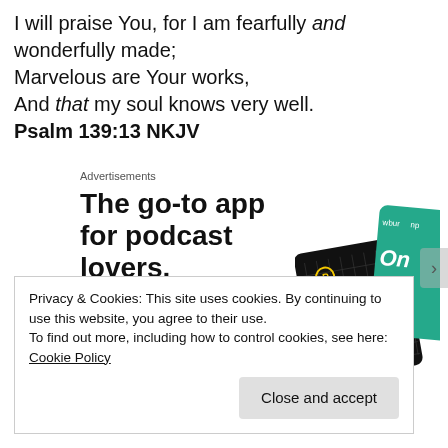I will praise You, for I am fearfully and wonderfully made; Marvelous are Your works, And that my soul knows very well. Psalm 139:13 NKJV
Advertisements
[Figure (illustration): Advertisement for a podcast app. Bold text reads 'The go-to app for podcast lovers.' with red 'Download now' link, and an image of app cards on the right.]
Privacy & Cookies: This site uses cookies. By continuing to use this website, you agree to their use.
To find out more, including how to control cookies, see here: Cookie Policy